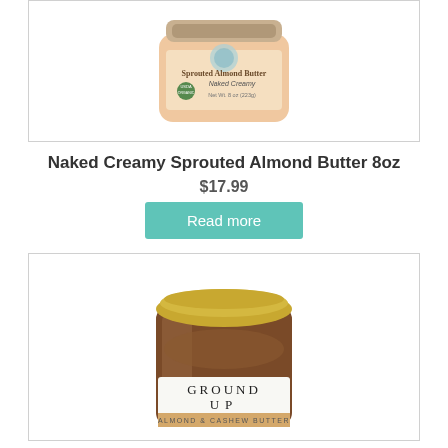[Figure (photo): Jar of Naked Creamy Sprouted Almond Butter 8oz with a peach/pink label and organic USDA seal]
Naked Creamy Sprouted Almond Butter 8oz
$17.99
Read more
[Figure (photo): Jar of Ground Up Almond & Cashew Butter with a gold lid and white label showing the product name]